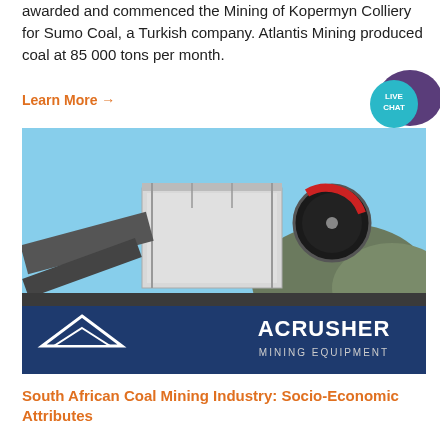awarded and commenced the Mining of Kopermyn Colliery for Sumo Coal, a Turkish company. Atlantis Mining produced coal at 85 000 tons per month.
Learn More →
[Figure (photo): Industrial mining crusher equipment on site with mountains in background, branded with ACRUSHER Mining Equipment logo on a blue and white signboard.]
South African Coal Mining Industry: Socio-Economic Attributes